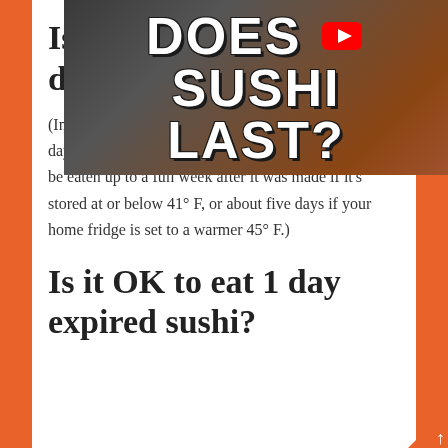[Figure (screenshot): YouTube thumbnail showing 'DOES SUSHI LAST?' text in bold white letters on dark background with YouTube play button icon]
Is sushi still good after 4 days?
(In general, raw fish that's refrigerated is safe for three days. Sushi made from cooked fish or vegetables can be eaten up to a full week after it was made if it's stored at or below 41° F, or about five days if your home fridge is set to a warmer 45° F.)
Is it OK to eat 1 day expired sushi?